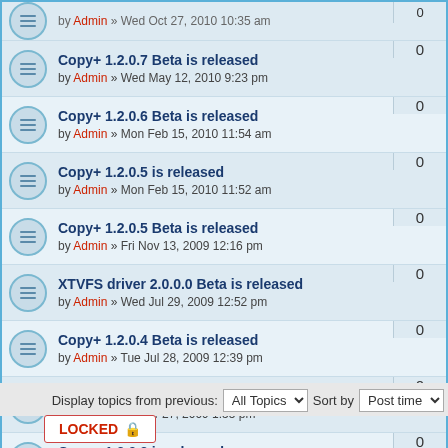by Admin » Wed Oct 27, 2010 10:35 am | 0
Copy+ 1.2.0.7 Beta is released
by Admin » Wed May 12, 2010 9:23 pm | 0
Copy+ 1.2.0.6 Beta is released
by Admin » Mon Feb 15, 2010 11:54 am | 0
Copy+ 1.2.0.5 is released
by Admin » Mon Feb 15, 2010 11:52 am | 0
Copy+ 1.2.0.5 Beta is released
by Admin » Fri Nov 13, 2009 12:16 pm | 0
XTVFS driver 2.0.0.0 Beta is released
by Admin » Wed Jul 29, 2009 12:52 pm | 0
Copy+ 1.2.0.4 Beta is released
by Admin » Tue Jul 28, 2009 12:39 pm | 0
Copy+ is in What Satellite magazine!
by Admin » Fri Mar 27, 2009 1:55 pm | 0
Copy+ 1.2.0.3 is released
by Admin » Sun Jan 11, 2009 4:28 pm | 0
Copy+ 1.2.0.3 Beta is available!
by Admin » Mon Dec 01, 2008 9:12 pm | 0
Display topics from previous: All Topics Sort by Post time
LOCKED